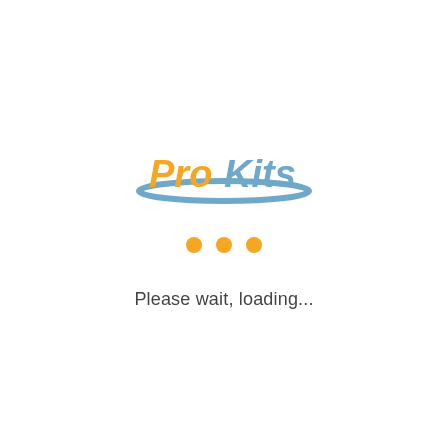[Figure (logo): ProKits logo with swoosh arc in steel blue and orange/gold text reading 'ProKits']
Please wait, loading...